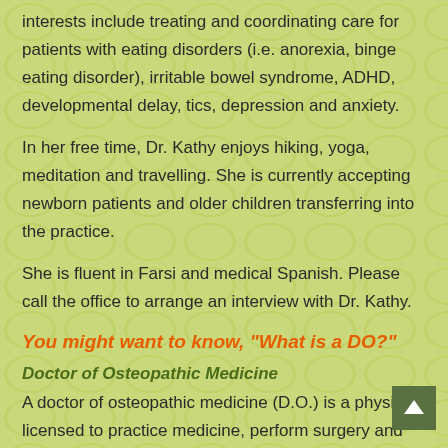interests include treating and coordinating care for patients with eating disorders (i.e. anorexia, binge eating disorder), irritable bowel syndrome, ADHD, developmental delay, tics, depression and anxiety.
In her free time, Dr. Kathy enjoys hiking, yoga, meditation and travelling. She is currently accepting newborn patients and older children transferring into the practice.
She is fluent in Farsi and medical Spanish. Please call the office to arrange an interview with Dr. Kathy.
You might want to know, "What is a DO?"
Doctor of Osteopathic Medicine
A doctor of osteopathic medicine (D.O.) is a physician licensed to practice medicine, perform surgery and prescribe